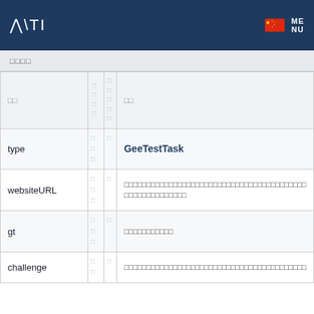A\TI [flag] MENU
□□□□
| □□ | □□□□□ | □□□□□ | □□ |
| --- | --- | --- | --- |
| type | □□□ | □□ | GeeTestTask |
| websiteURL | □□□ | □□ | □□□□□□□□□□□□□□□□□□□□□□□□□□□□□□□□□□□□□□□□□□□□□□□□□□□□□□□□□□□□□□□□□ |
| gt | □□□ | □□ | □□□□□□□□□□□ |
| challenge | □□□ | □□ | □□□□□□□□□□□□□□□□□□□□□□□□□□□□□□□□□□□□□□□□□□□□□□□□□□□□□□□□□□□□□□□□□ |